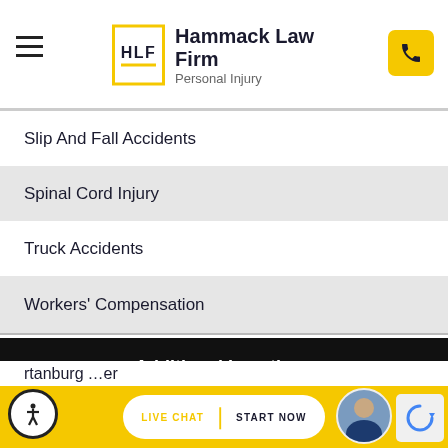Hammack Law Firm Personal Injury
Slip And Fall Accidents
Spinal Cord Injury
Truck Accidents
Workers' Compensation
Additional Locations
Greenville Wrongful Death Lawyer
Spartanburg [Lawyer]